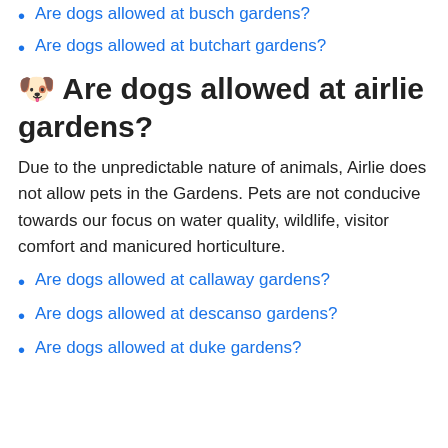Are dogs allowed at busch gardens?
Are dogs allowed at butchart gardens?
🐶 Are dogs allowed at airlie gardens?
Due to the unpredictable nature of animals, Airlie does not allow pets in the Gardens. Pets are not conducive towards our focus on water quality, wildlife, visitor comfort and manicured horticulture.
Are dogs allowed at callaway gardens?
Are dogs allowed at descanso gardens?
Are dogs allowed at duke gardens?